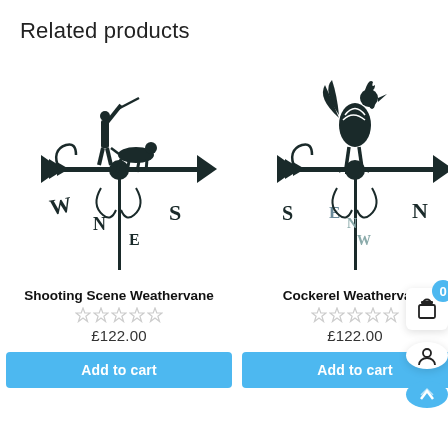Related products
[Figure (photo): Black metal Shooting Scene Weathervane with hunter, dog, and compass directions W, N, E, S]
Shooting Scene Weathervane
[Figure (other): 5-star rating (empty stars)]
£122.00
Add to cart
[Figure (photo): Black metal Cockerel Weathervane with rooster on top and compass directions S, N, E, W]
Cockerel Weathervane
[Figure (other): 5-star rating (empty stars)]
£122.00
Add to cart